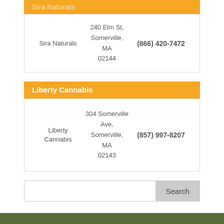Sira Naturals
| Name | Address | Phone |
| --- | --- | --- |
| Sira Naturals | 240 Elm St, Somerville, MA 02144 | (866) 420-7472 |
Liberty Cannabis
| Name | Address | Phone |
| --- | --- | --- |
| Liberty Cannabis | 304 Somerville Ave, Somerville, MA 02143 | (857) 997-8207 |